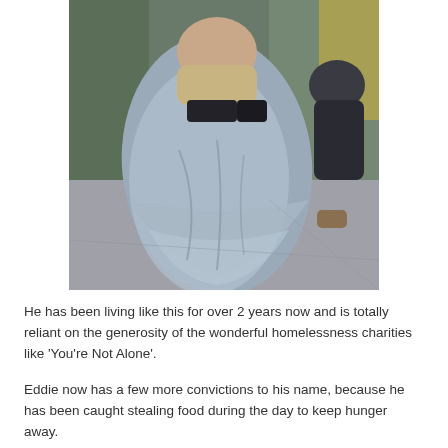[Figure (photo): A person wrapped in a large blue/grey blanket or sleeping bag lying on the floor, with another person crouching beside them, in what appears to be a public indoor space.]
He has been living like this for over 2 years now and is totally reliant on the generosity of the wonderful homelessness charities like 'You're Not Alone'.
Eddie now has a few more convictions to his name, because he has been caught stealing food during the day to keep hunger away.